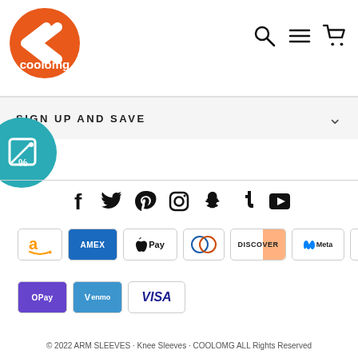[Figure (logo): Coolomg orange circle logo with white arrow/chevron icon and 'coolomg' text]
[Figure (infographic): Navigation icons: search magnifying glass, hamburger menu, shopping cart]
SIGN UP AND SAVE
[Figure (infographic): Teal circle with discount/percent tag icon]
[Figure (infographic): Social media icons: Facebook, Twitter, Pinterest, Instagram, Snapchat, Tumblr, YouTube]
[Figure (infographic): Payment method badges: Amazon, Amex, Apple Pay, Diners Club, Discover, Meta Pay, Mastercard, PayPal, OPay, Venmo, Visa]
© 2022 ARM SLEEVES · Knee Sleeves · COOLOMG ALL Rights Reserved